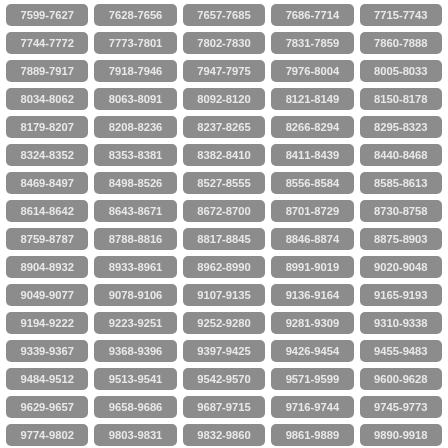| 7599-7627 | 7628-7656 | 7657-7685 | 7686-7714 | 7715-7743 |
| 7744-7772 | 7773-7801 | 7802-7830 | 7831-7859 | 7860-7888 |
| 7889-7917 | 7918-7946 | 7947-7975 | 7976-8004 | 8005-8033 |
| 8034-8062 | 8063-8091 | 8092-8120 | 8121-8149 | 8150-8178 |
| 8179-8207 | 8208-8236 | 8237-8265 | 8266-8294 | 8295-8323 |
| 8324-8352 | 8353-8381 | 8382-8410 | 8411-8439 | 8440-8468 |
| 8469-8497 | 8498-8526 | 8527-8555 | 8556-8584 | 8585-8613 |
| 8614-8642 | 8643-8671 | 8672-8700 | 8701-8729 | 8730-8758 |
| 8759-8787 | 8788-8816 | 8817-8845 | 8846-8874 | 8875-8903 |
| 8904-8932 | 8933-8961 | 8962-8990 | 8991-9019 | 9020-9048 |
| 9049-9077 | 9078-9106 | 9107-9135 | 9136-9164 | 9165-9193 |
| 9194-9222 | 9223-9251 | 9252-9280 | 9281-9309 | 9310-9338 |
| 9339-9367 | 9368-9396 | 9397-9425 | 9426-9454 | 9455-9483 |
| 9484-9512 | 9513-9541 | 9542-9570 | 9571-9599 | 9600-9628 |
| 9629-9657 | 9658-9686 | 9687-9715 | 9716-9744 | 9745-9773 |
| 9774-9802 | 9803-9831 | 9832-9860 | 9861-9889 | 9890-9918 |